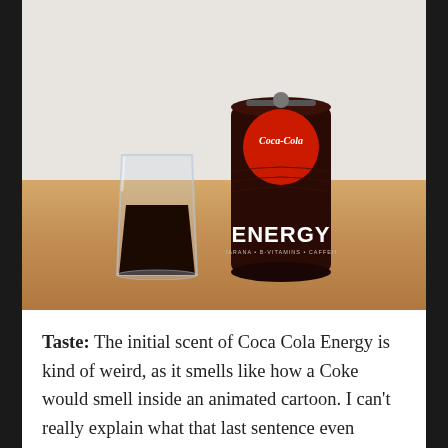[Figure (photo): A can of Coca-Cola Energy drink (dark red/brown can with 'ENERGY' text and Coca-Cola logo) next to a short glass filled with the dark brown energy drink, both sitting on a wooden table surface against a light gray wall.]
Taste: The initial scent of Coca Cola Energy is kind of weird, as it smells like how a Coke would smell inside an animated cartoon. I can't really explain what that last sentence even meant, but it's pretty accurate. The color is exactly the same hue of normal Coke, but it is far less carbonated.